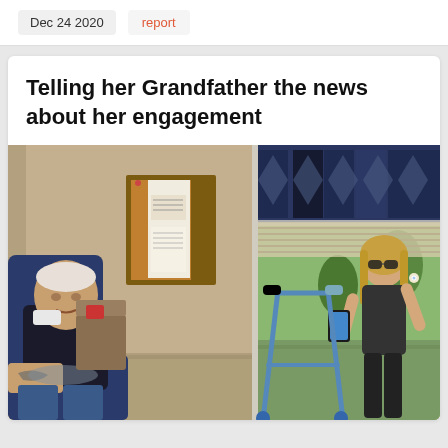Dec 24 2020
report
Telling her Grandfather the news about her engagement
[Figure (photo): A photograph showing an elderly man seated in a chair inside a room, while a blond woman wearing sunglasses and a dark top stands outside a large window, apparently showing him her engagement ring. A walker is visible inside the room near the window. A bulletin board with papers hangs on the wall. A patterned curtain valance is visible at the top right of the window.]